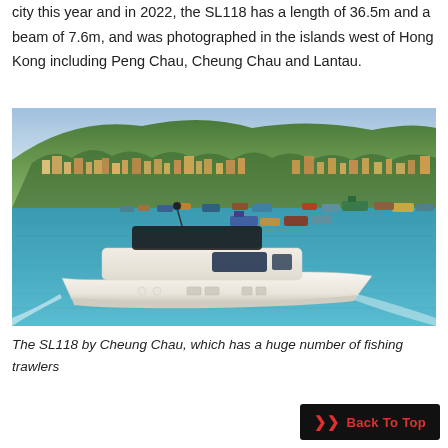city this year and in 2022, the SL118 has a length of 36.5m and a beam of 7.6m, and was photographed in the islands west of Hong Kong including Peng Chau, Cheung Chau and Lantau.
[Figure (photo): Aerial photo of a large white motor yacht (SL118) cruising on turquoise water near Cheung Chau, with many fishing trawlers and colorful buildings on a hillside in the background.]
The SL118 by Cheung Chau, which has a huge number of fishing trawlers